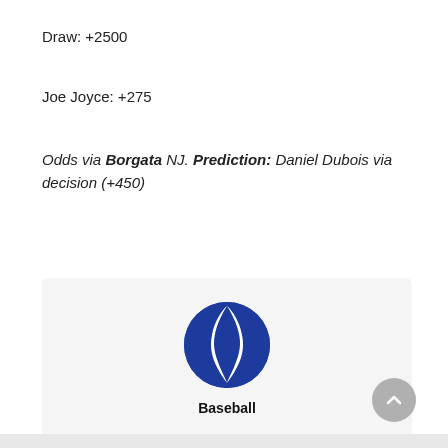Draw: +2500
Joe Joyce: +275
Odds via Borgata NJ. Prediction: Daniel Dubois via decision (+450)
Popular Betting Predictions & Free Bets
[Figure (logo): Baseball icon: dark blue circle with two curved white shapes forming a baseball seam design, with the word 'Baseball' in bold beneath it, inside a light gray rounded card]